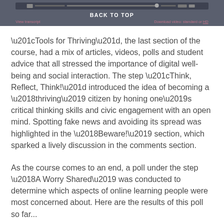BACK TO TOP
“Tools for Thriving”, the last section of the course, had a mix of articles, videos, polls and student advice that all stressed the importance of digital well-being and social interaction. The step “Think, Reflect, Think!” introduced the idea of becoming a ‘thriving’ citizen by honing one’s critical thinking skills and civic engagement with an open mind. Spotting fake news and avoiding its spread was highlighted in the ‘Beware!’ section, which sparked a lively discussion in the comments section.
As the course comes to an end, a poll under the step ‘A Worry Shared’ was conducted to determine which aspects of online learning people were most concerned about. Here are the results of this poll so far...